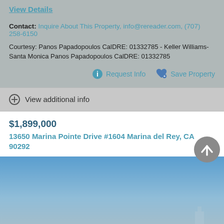View Details
Contact: Inquire About This Property, info@rereader.com, (707) 258-6150
Courtesy: Panos Papadopoulos CalDRE: 01332785 - Keller Williams-Santa Monica Panos Papadopoulos CalDRE: 01332785
Request Info  Save Property
View additional info
$1,899,000
13650 Marina Pointe Drive #1604 Marina del Rey, CA 90292
[Figure (photo): Exterior photo showing blue sky and partial building view of marina property]